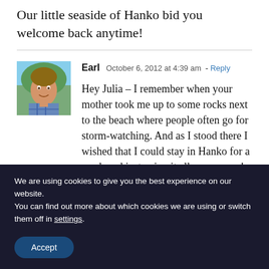Our little seaside of Hanko bid you welcome back anytime!
[Figure (photo): Avatar photo of a smiling young man in a plaid shirt outdoors]
Earl   October 6, 2012 at 4:39 am · Reply

Hey Julia – I remember when your mother took me up to some rocks next to the beach where people often go for storm-watching. And as I stood there I wished that I could stay in Hanko for a week and just enjoy it all some more!
We are using cookies to give you the best experience on our website.
You can find out more about which cookies we are using or switch them off in settings.